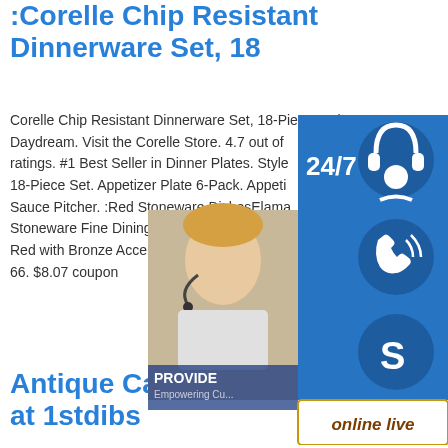:Corelle Chip Resistant Dinnerware Set, 18
Corelle Chip Resistant Dinnerware Set, 18-Piece, Boho Daydream. Visit the Corelle Store. 4.7 out of ratings. #1 Best Seller in Dinner Plates. Style 18-Piece Set. Appetizer Plate 6-Pack. Appeti Sauce Pitcher. :Red Stoneware DishesElama Stoneware Fine Dining Dinnerware Dish Set, Red with Bronze Accents. 4.8 out of 5 stars. 66. $8.07 coupon
[Figure (photo): Customer support widget panel with 24/7 headset icon, phone icon, Skype icon, online live button, and agent photo with PROVIDE Empowering Cu... text]
Antique Candle Holders at 1stdibs
Constantin II + III Set of Two Candleholders in Black Oak, Walnut and Brass. Pair of Louis XV Style Gilt Bronze Candelabras. Located in Saint-Ouen, FR. A pair of Louis XV style gilt bronze candelabras, 19th century Measures:H:67 cm, W:32 cm, D:29 cm. Category. 1870s European Louis Buy Tea & Coffee Sets Online at Overstock Our Best 66. Featured. Was $38.49. Save $5.77 (15%) Sale $32.72. 17. Palwares